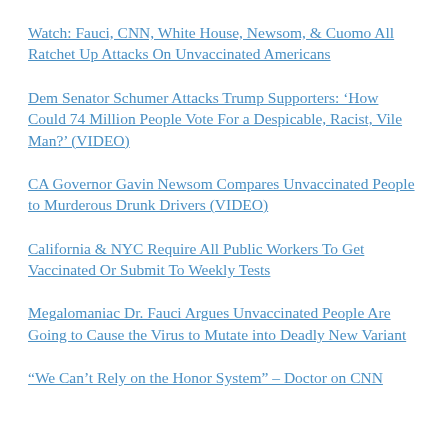Watch: Fauci, CNN, White House, Newsom, & Cuomo All Ratchet Up Attacks On Unvaccinated Americans
Dem Senator Schumer Attacks Trump Supporters: ‘How Could 74 Million People Vote For a Despicable, Racist, Vile Man?’ (VIDEO)
CA Governor Gavin Newsom Compares Unvaccinated People to Murderous Drunk Drivers (VIDEO)
California & NYC Require All Public Workers To Get Vaccinated Or Submit To Weekly Tests
Megalomaniac Dr. Fauci Argues Unvaccinated People Are Going to Cause the Virus to Mutate into Deadly New Variant
“We Can’t Rely on the Honor System” – Doctor on CNN